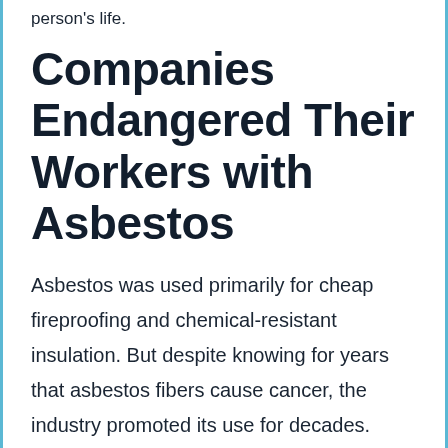person's life.
Companies Endangered Their Workers with Asbestos
Asbestos was used primarily for cheap fireproofing and chemical-resistant insulation. But despite knowing for years that asbestos fibers cause cancer, the industry promoted its use for decades.
Asbestos was a particularly popular